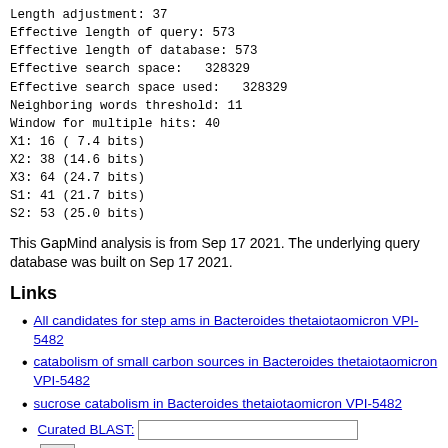Length adjustment: 37
Effective length of query: 573
Effective length of database: 573
Effective search space:   328329
Effective search space used:   328329
Neighboring words threshold: 11
Window for multiple hits: 40
X1: 16 ( 7.4 bits)
X2: 38 (14.6 bits)
X3: 64 (24.7 bits)
S1: 41 (21.7 bits)
S2: 53 (25.0 bits)
This GapMind analysis is from Sep 17 2021. The underlying query database was built on Sep 17 2021.
Links
All candidates for step ams in Bacteroides thetaiotaomicron VPI-5482
catabolism of small carbon sources in Bacteroides thetaiotaomicron VPI-5482
sucrose catabolism in Bacteroides thetaiotaomicron VPI-5482
Curated BLAST: